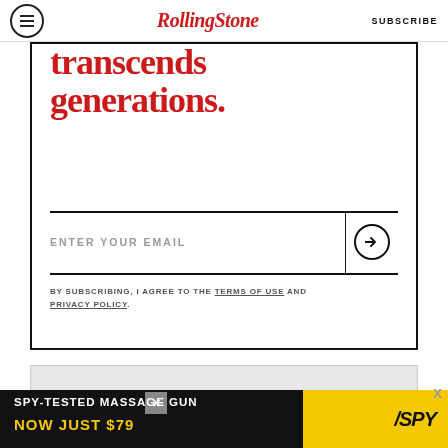Rolling Stone | SUBSCRIBE
transcends generations.
ENTER YOUR EMAIL
BY SUBSCRIBING, I AGREE TO THE TERMS OF USE AND PRIVACY POLICY.
SPONSORED STORIES
By Taboola
[Figure (screenshot): SPY advertisement banner: SPY-TESTED MASSAGE GUN NOW JUST $79 on dark background with yellow SPY logo]